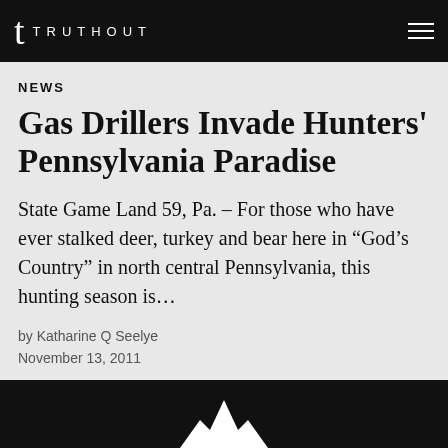t TRUTHOUT
NEWS
Gas Drillers Invade Hunters' Pennsylvania Paradise
State Game Land 59, Pa. – For those who have ever stalked deer, turkey and bear here in “God’s Country” in north central Pennsylvania, this hunting season is…
by Katharine Q Seelye
November 13, 2011
[Figure (photo): Dark image with a white silhouette shape, partially cropped at the bottom of the page]